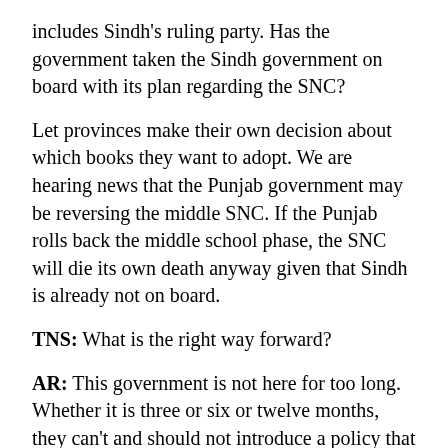includes Sindh's ruling party. Has the government taken the Sindh government on board with its plan regarding the SNC?
Let provinces make their own decision about which books they want to adopt. We are hearing news that the Punjab government may be reversing the middle SNC. If the Punjab rolls back the middle school phase, the SNC will die its own death anyway given that Sindh is already not on board.
TNS: What is the right way forward?
AR: This government is not here for too long. Whether it is three or six or twelve months, they can't and should not introduce a policy that steps on the toes of the next elected government. The best way to use their time with regards to education would be to ensure that primary textbooks are corrected. Our children are not